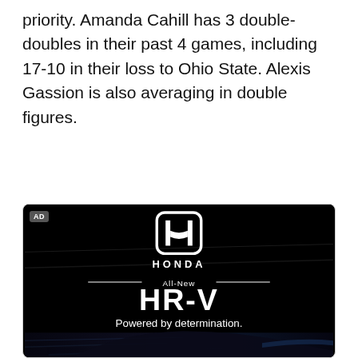priority. Amanda Cahill has 3 double-doubles in their past 4 games, including 17-10 in their loss to Ohio State. Alexis Gassion is also averaging in double figures.
[Figure (photo): Honda advertisement for the All-New HR-V on a black background with tagline 'Powered by determination.' showing the Honda logo and a car silhouette at the bottom.]